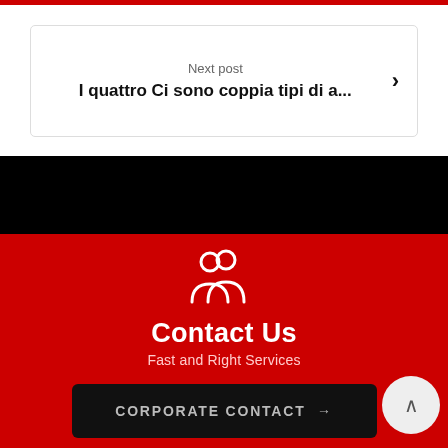Next post
I quattro Ci sono coppia tipi di a...
[Figure (illustration): Two people/users icon in white outline on red background]
Contact Us
Fast and Right Services
CORPORATE CONTACT →